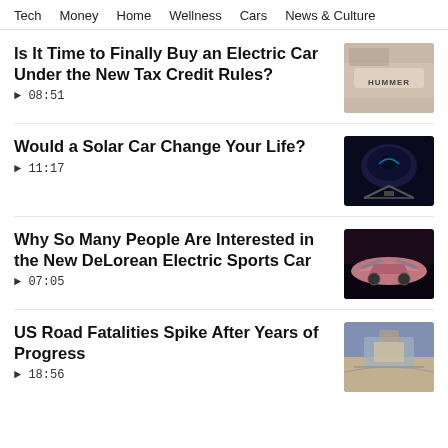Tech  Money  Home  Wellness  Cars  News & Culture
Is It Time to Finally Buy an Electric Car Under the New Tax Credit Rules?
▶ 08:51
Would a Solar Car Change Your Life?
▶ 11:17
Why So Many People Are Interested in the New DeLorean Electric Sports Car
▶ 07:05
US Road Fatalities Spike After Years of Progress
▶ 18:56